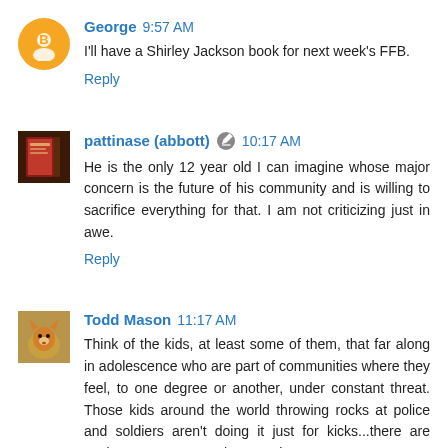George 9:57 AM
I'll have a Shirley Jackson book for next week's FFB.
Reply
pattinase (abbott) 10:17 AM
He is the only 12 year old I can imagine whose major concern is the future of his community and is willing to sacrifice everything for that. I am not criticizing just in awe.
Reply
Todd Mason 11:17 AM
Think of the kids, at least some of them, that far along in adolescence who are part of communities where they feel, to one degree or another, under constant threat. Those kids around the world throwing rocks at police and soldiers aren't doing it just for kicks...there are easier ways to not get hurt out there.